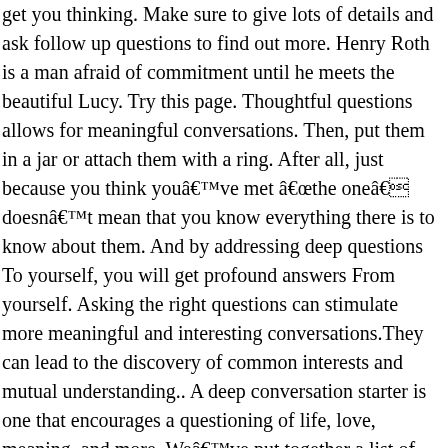get you thinking. Make sure to give lots of details and ask follow up questions to find out more. Henry Roth is a man afraid of commitment until he meets the beautiful Lucy. Try this page. Thoughtful questions allows for meaningful conversations. Then, put them in a jar or attach them with a ring. After all, just because you think youâve met âthe oneâ doesnât mean that you know everything there is to know about them. And by addressing deep questions To yourself, you will get profound answers From yourself. Asking the right questions can stimulate more meaningful and interesting conversations.They can lead to the discovery of common interests and mutual understanding.. A deep conversation starter is one that encourages a questioning of life, love, meaning, and more. Weâve put together a list of 116 deep questions that will spark fun and meaningful discussions. The Brick Wall. Note down some of the entertaining questions to ask your best friend about yourself. Deep meaningful quotes about life can help us appreciate the life that we have right now.